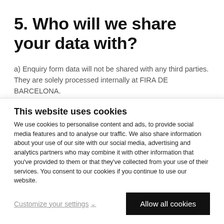5. Who will we share your data with?
a) Enquiry form data will not be shared with any third parties. They are solely processed internally at FIRA DE BARCELONA.
b) When FIRA DE BARCELONA offers you a service through a third-party provider, your data will be communicated to this company,
This website uses cookies
We use cookies to personalise content and ads, to provide social media features and to analyse our traffic. We also share information about your use of our site with our social media, advertising and analytics partners who may combine it with other information that you've provided to them or that they've collected from your use of their services. You consent to our cookies if you continue to use our website.
Customize your settings
Allow all cookies